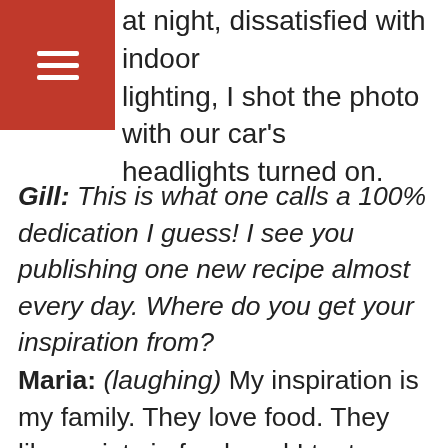[Figure (other): Red hamburger menu button icon with three white horizontal lines]
at night, dissatisfied with indoor lighting, I shot the photo with our car's headlights turned on.
Gill: This is what one calls a 100% dedication I guess! I see you publishing one new recipe almost every day. Where do you get your inspiration from?
Maria: (laughing) My inspiration is my family. They love food. They like variety in food, and I try to stand up to the challenge. Actually, it's not as difficult as it looks. Usually, I don't cook specially for the blog, I